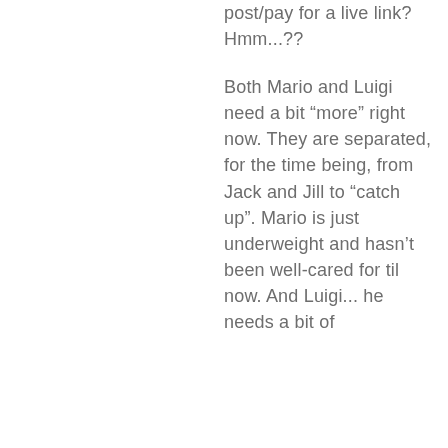post/pay for a live link? Hmm...??
Both Mario and Luigi need a bit "more" right now. They are separated, for the time being, from Jack and Jill to "catch up". Mario is just underweight and hasn't been well-cared for til now. And Luigi... he needs a bit of